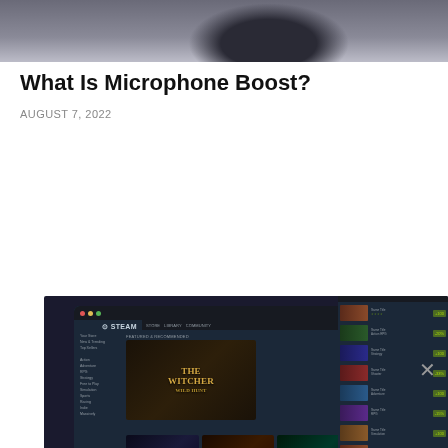[Figure (photo): Top cropped photo of a microphone on a desk with keyboard in background, dark/gray tones]
What Is Microphone Boost?
AUGUST 7, 2022
[Figure (screenshot): Laptop showing Steam gaming platform with The Witcher: Wild Hunt featured prominently, alongside game store listings and thumbnails. A second monitor/screen shows a Steam library list on the right side.]
[Figure (screenshot): Advertisement banner showing blue stick figure icons above the text 'Hold and Move' with ad close controls in top right corner]